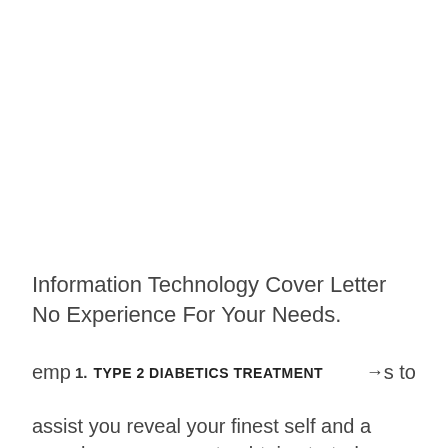Information Technology Cover Letter No Experience For Your Needs.
Batt [ad bar overlay] an emp [ad row 2: 1. TYPE 2 DIABETICS TREATMENT →] s to assist you reveal your finest self and a sample you can use to obtain started.